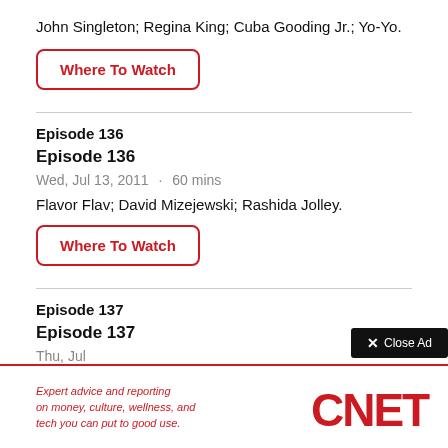John Singleton; Regina King; Cuba Gooding Jr.; Yo-Yo.
Where To Watch
Episode 136
Episode 136
Wed, Jul 13, 2011 · 60 mins
Flavor Flav; David Mizejewski; Rashida Jolley.
Where To Watch
Episode 137
Episode 137
Thu, Jul
[Figure (logo): CNET logo in red letters with ad text: Expert advice and reporting on money, culture, wellness, and tech you can put to good use.]